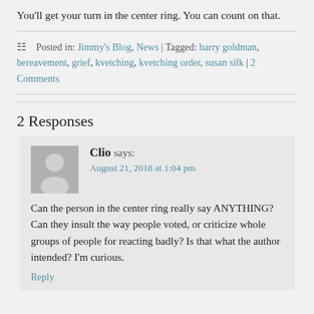You'll get your turn in the center ring. You can count on that.
Posted in: Jimmy's Blog, News | Tagged: barry goldman, bereavement, grief, kvetching, kvetching order, susan silk | 2 Comments
2 Responses
Clio says: August 21, 2018 at 1:04 pm
Can the person in the center ring really say ANYTHING? Can they insult the way people voted, or criticize whole groups of people for reacting badly? Is that what the author intended? I'm curious.
Reply